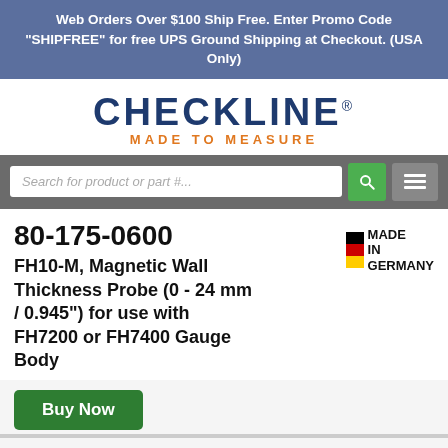Web Orders Over $100 Ship Free. Enter Promo Code "SHIPFREE" for free UPS Ground Shipping at Checkout. (USA Only)
[Figure (logo): Checkline logo with tagline MADE TO MEASURE]
Search for product or part #...
80-175-0600
FH10-M, Magnetic Wall Thickness Probe (0 - 24 mm / 0.945") for use with FH7200 or FH7400 Gauge Body
[Figure (logo): Made in Germany badge with German flag colors (black, red, gold) and text MADE IN GERMANY]
Buy Now